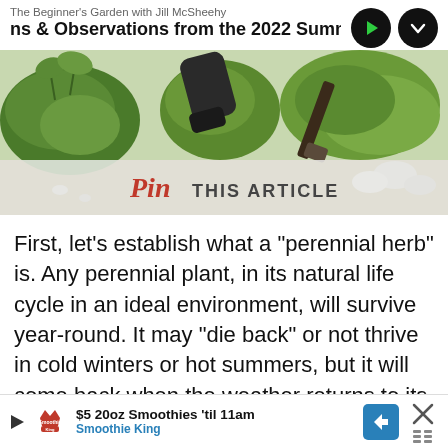The Beginner's Garden with Jill McSheehy
ns & Observations from the 2022 Summer Ga
[Figure (photo): Garden photo showing herbs and plants with hands gardening, with a 'Pin This Article' overlay banner at the bottom of the image]
First, let’s establish what a “perennial herb” is. Any perennial plant, in its natural life cycle in an ideal environment, will survive year-round. It may “die back” or not thrive in cold winters or hot summers, but it will come back when the weather returns to its ideal condition.
[Figure (screenshot): Advertisement banner for Smoothie King: '$5 20oz Smoothies ’til 11am' with Smoothie King logo, play button, blue arrow sign, and close button with grid icon]